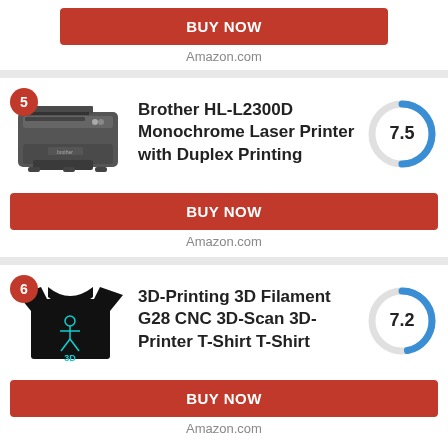BUY NOW
Amazon.com
[Figure (photo): Brother HL-L2300D Monochrome Laser Printer product photo]
Brother HL-L2300D Monochrome Laser Printer with Duplex Printing
[Figure (infographic): Score circle showing 7.5 rating]
BUY NOW
Amazon.com
[Figure (photo): 3D-Printing T-Shirt product photo]
3D-Printing 3D Filament G28 CNC 3D-Scan 3D-Printer T-Shirt T-Shirt
[Figure (infographic): Score circle showing 7.2 rating]
BUY NOW
Amazon.com